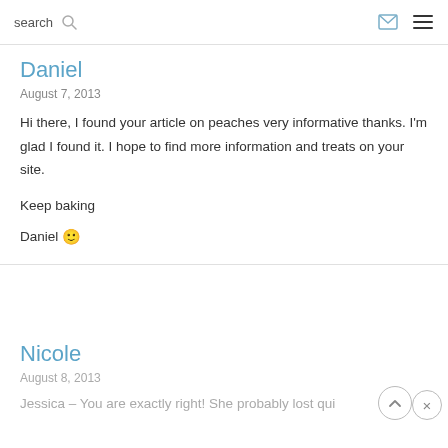search
Daniel
August 7, 2013
Hi there, I found your article on peaches very informative thanks. I'm glad I found it. I hope to find more information and treats on your site.

Keep baking

Daniel 🙂
Nicole
August 8, 2013
Jessica – You are exactly right! She probably lost qui